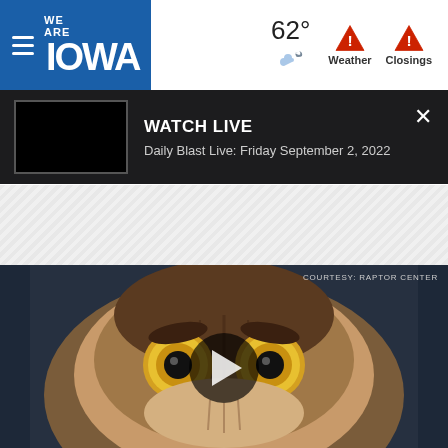[Figure (screenshot): We Are Iowa news website navigation bar with hamburger menu, blue logo, temperature 62°, weather icon, Weather and Closings alert buttons]
[Figure (screenshot): Watch Live banner in dark background showing a black video thumbnail and text 'WATCH LIVE - Daily Blast Live: Friday September 2, 2022' with X close button]
[Figure (other): Diagonal striped advertisement banner placeholder]
[Figure (photo): Close-up photo of an owl with large yellow eyes staring at camera, dark background. Credit: COURTESY: RAPTOR CENTER. Video play button overlay in center.]